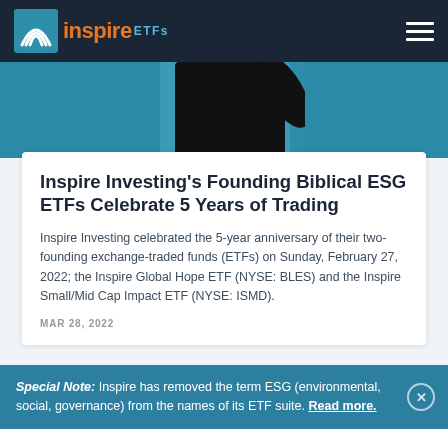inspire ETFs
[Figure (photo): Partial view of a person wearing a black long-sleeve shirt against a teal/blue background, cropped to show torso and raised arm]
Inspire Investing's Founding Biblical ESG ETFs Celebrate 5 Years of Trading
Inspire Investing celebrated the 5-year anniversary of their two-founding exchange-traded funds (ETFs) on Sunday, February 27, 2022; the Inspire Global Hope ETF (NYSE: BLES) and the Inspire Small/Mid Cap Impact ETF (NYSE: ISMD).
MAR 28, 2022
Special Note: Inspire has removed the term ESG (environmental, social, governance) from the names of its ETF suite. Read more.